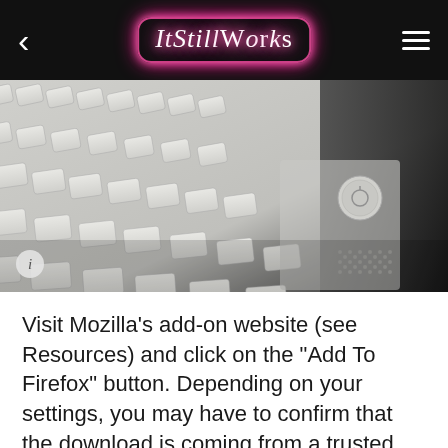ItStillWorks
[Figure (photo): Close-up photo of a white laptop keyboard with power button and speaker grille visible on the right side, dark background]
Visit Mozilla's add-on website (see Resources) and click on the "Add To Firefox" button. Depending on your settings, you may have to confirm that the download is coming from a trusted source, which it is. Click on the "Install